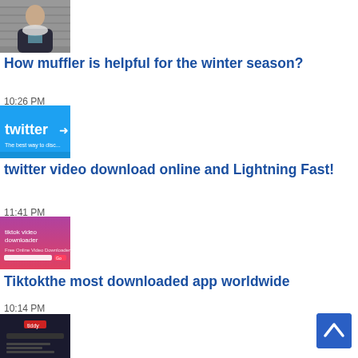[Figure (photo): Young man wearing a white muffler/scarf and dark jacket]
How muffler is helpful for the winter season?
10:26 PM
[Figure (screenshot): Twitter logo screen with text 'The best way to discover']
twitter video download online and Lightning Fast!
11:41 PM
[Figure (screenshot): TikTok video downloader website screenshot with pink/purple background]
Tiktokthe most downloaded app worldwide
10:14 PM
[Figure (screenshot): Dark website screenshot with red logo text]